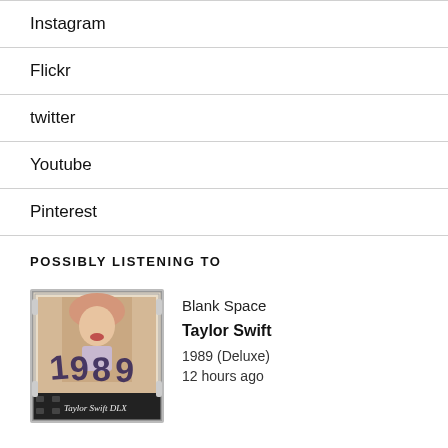Instagram
Flickr
twitter
Youtube
Pinterest
POSSIBLY LISTENING TO
[Figure (illustration): Album art for Taylor Swift's 1989 (Deluxe) - a polaroid-style image showing Taylor Swift with handwritten '1989' text and a film strip at the bottom with 'Taylor Swift DLX' written on it]
Blank Space
Taylor Swift
1989 (Deluxe)
12 hours ago